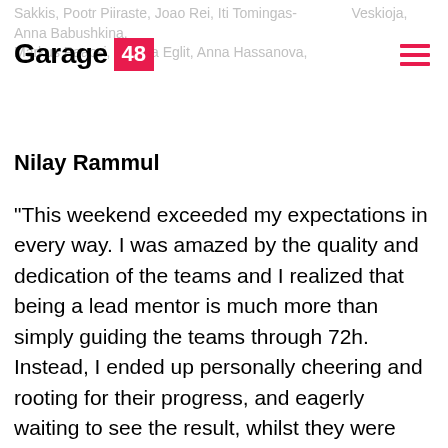Garage 48
Sakkis, Pootr Piiraste, Joao Rei, Iti Tomingas- ... Veskioja, Anna Babushkina, Markus Paapsi, Helena Eglit, Anna Hassanova,
Nilay Rammul
“This weekend exceeded my expectations in every way. I was amazed by the quality and dedication of the teams and I realized that being a lead mentor is much more than simply guiding the teams through 72h. Instead, I ended up personally cheering and rooting for their progress, and eagerly waiting to see the result, whilst they were solving today’s key societal issues with innovation and collaboration. The community and atmosphere surrounding the entire event were filled with positivity and the desire to make an impact, which created a ground for new friendships and long-